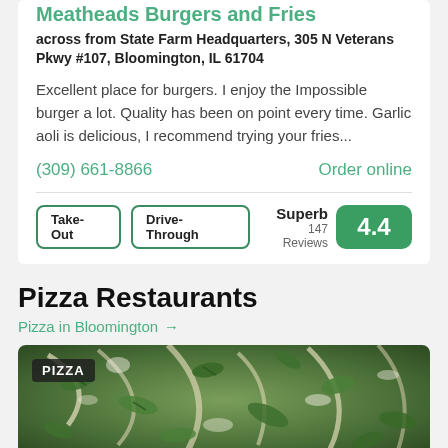Meatheads Burgers and Fries
across from State Farm Headquarters, 305 N Veterans Pkwy #107, Bloomington, IL 61704
Excellent place for burgers. I enjoy the Impossible burger a lot. Quality has been on point every time. Garlic aoli is delicious, I recommend trying your fries...
(309) 661-8866
Order online
Take-Out
Drive-Through
Superb 147 Reviews 4.4
Pizza Restaurants
Pizza in Bloomington →
[Figure (photo): Pizza with green toppings including vegetables and melted cheese, labeled PIZZA]